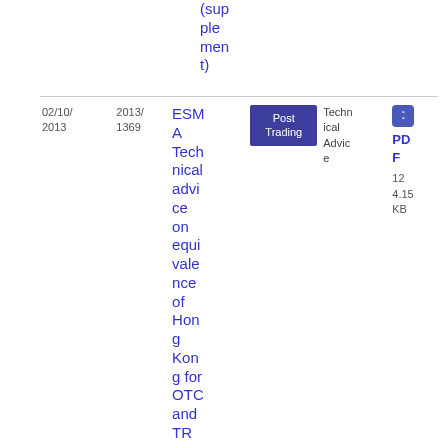(supplement)
| Date | Ref | Title | Topic | Type | File |
| --- | --- | --- | --- | --- | --- |
| 02/10/2013 | 2013/1369 | ESMA Technical advice on equivalence of Hong Kong for OTC and TR | Post Trading | Technical Advice | PDF 124.15 KB |